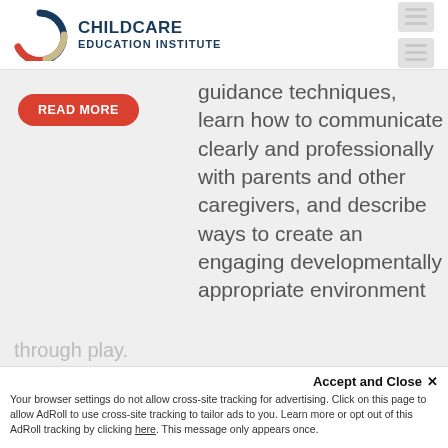[Figure (logo): ChildCare Education Institute logo with circular icon and text]
guidance techniques, learn how to communicate clearly and professionally with parents and other caregivers, and describe ways to create an engaging developmentally appropriate environment
READ MORE
Accept and Close ×
Your browser settings do not allow cross-site tracking for advertising. Click on this page to allow AdRoll to use cross-site tracking to tailor ads to you. Learn more or opt out of this AdRoll tracking by clicking here. This message only appears once.